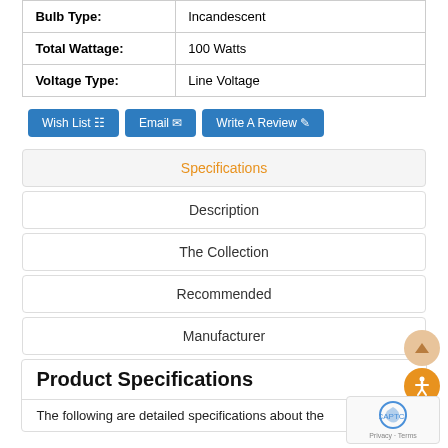| Bulb Type: | Incandescent |
| Total Wattage: | 100 Watts |
| Voltage Type: | Line Voltage |
Wish List
Email
Write A Review
Specifications
Description
The Collection
Recommended
Manufacturer
Product Specifications
The following are detailed specifications about the